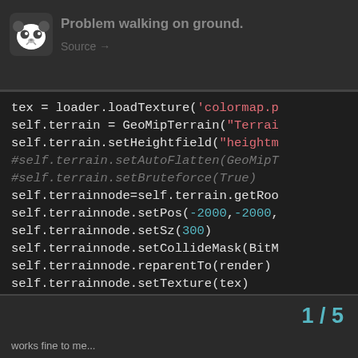Problem walking on ground.
[Figure (screenshot): Panda3D forum logo icon]
Source →
tex = loader.loadTexture('colormap.p
self.terrain = GeoMipTerrain("Terrai
self.terrain.setHeightfield("heightm
#self.terrain.setAutoFlatten(GeoMipT
#self.terrain.setBruteforce(True)
self.terrainnode=self.terrain.getRoo
self.terrainnode.setPos(-2000,-2000,
self.terrainnode.setSz(300)
self.terrainnode.setCollideMask(BitM
self.terrainnode.reparentTo(render)
self.terrainnode.setTexture(tex)
self.terrain.setBlockSize(64)
self.terrain.setNear(128)
self.terrain.setFar(1024)
self.terrain.setFocalPoint(base.came
self.terrain.setMinLevel(3)
self.terrain.generate()
works fine to me...  1 / 5